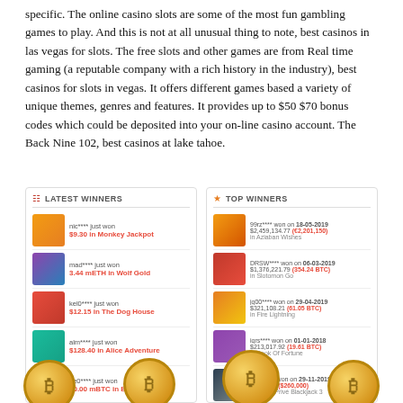specific. The online casino slots are some of the most fun gambling games to play. And this is not at all unusual thing to note, best casinos in las vegas for slots. The free slots and other games are from Real time gaming (a reputable company with a rich history in the industry), best casinos for slots in vegas. It offers different games based a variety of unique themes, genres and features. It provides up to $50 $70 bonus codes which could be deposited into your on-line casino account. The Back Nine 102, best casinos at lake tahoe.
[Figure (screenshot): Latest Winners panel and Top Winners panel from an online casino website, showing winner names, amounts won, and game thumbnails]